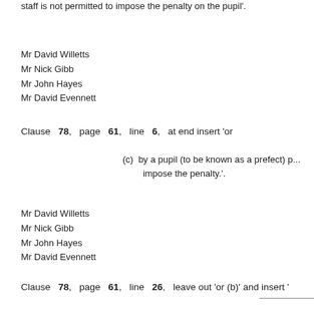staff is not permitted to impose the penalty on the pupil'.
Mr David Willetts
Mr Nick Gibb
Mr John Hayes
Mr David Evennett
Clause 78, page 61, line 6, at end insert 'or
(c) by a pupil (to be known as a prefect) p... impose the penalty.'.
Mr David Willetts
Mr Nick Gibb
Mr John Hayes
Mr David Evennett
Clause 78, page 61, line 26, leave out 'or (b)' and insert '
Mr David Willetts
Mr Nick Gibb
Mr John Hayes
Mr David Evennett